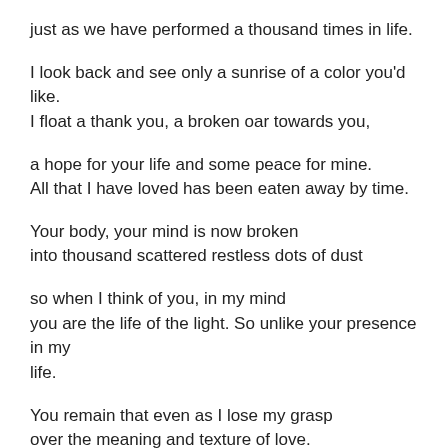just as we have performed a thousand times in life.
I look back and see only a sunrise of a color you'd like.
I float a thank you, a broken oar towards you,
a hope for your life and some peace for mine.
All that I have loved has been eaten away by time.
Your body, your mind is now broken
into thousand scattered restless dots of dust
so when I think of you, in my mind
you are the life of the light. So unlike your presence in my life.
You remain that even as I lose my grasp
over the meaning and texture of love.
I forget what we were really like.